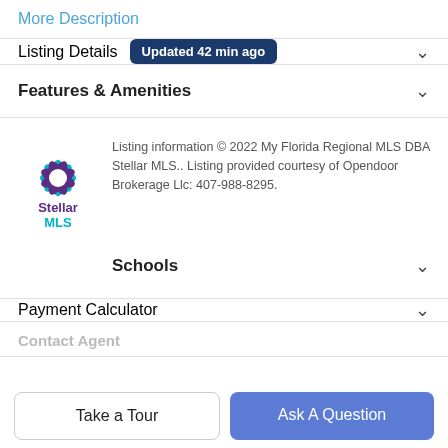More Description
Listing Details
Updated 42 min ago
Features & Amenities
[Figure (logo): Stellar MLS logo with star/snowflake design in teal and purple colors, with text 'Stellar MLS' below]
Listing information © 2022 My Florida Regional MLS DBA Stellar MLS.. Listing provided courtesy of Opendoor Brokerage Llc: 407-988-8295.
Schools
Payment Calculator
Contact Agent
Take a Tour
Ask A Question